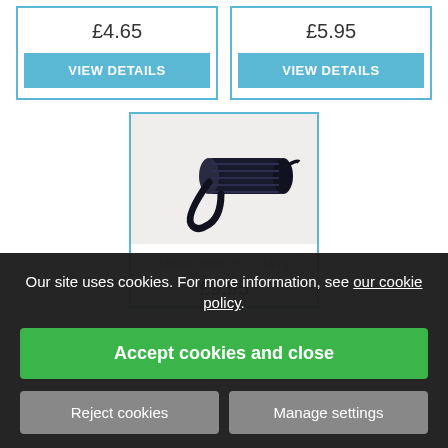£4.65
VIEW DETAILS
£5.95
VIEW DETAILS
[Figure (photo): Black rope/cord product with loop, displayed on white background]
Monolineline - Navy
£9.95
Our site uses cookies. For more information, see our cookie policy.
Accept cookies and close
Reject cookies
Manage settings